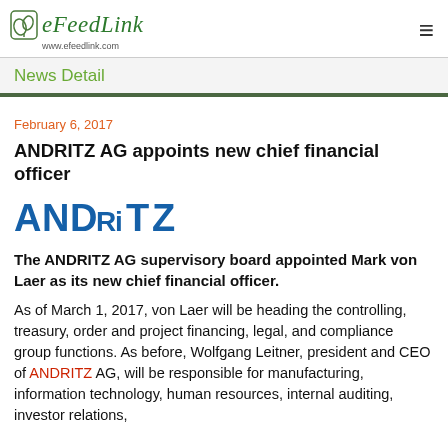eFeedLink www.efeedlink.com
News Detail
February 6, 2017
ANDRITZ AG appoints new chief financial officer
[Figure (logo): ANDRITZ company logo in blue bold letters]
The ANDRITZ AG supervisory board appointed Mark von Laer as its new chief financial officer.
As of March 1, 2017, von Laer will be heading the controlling, treasury, order and project financing, legal, and compliance group functions. As before, Wolfgang Leitner, president and CEO of ANDRITZ AG, will be responsible for manufacturing, information technology, human resources, internal auditing, investor relations,